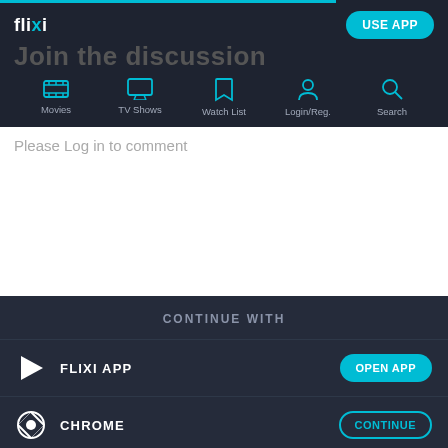flixi — USE APP
Join the discussion
[Figure (screenshot): Navigation bar with icons for Movies, TV Shows, Watch List, Login/Reg., and Search in cyan on dark background]
Please Log in to comment
CONTINUE WITH
FLIXI APP — OPEN APP
CHROME — CONTINUE